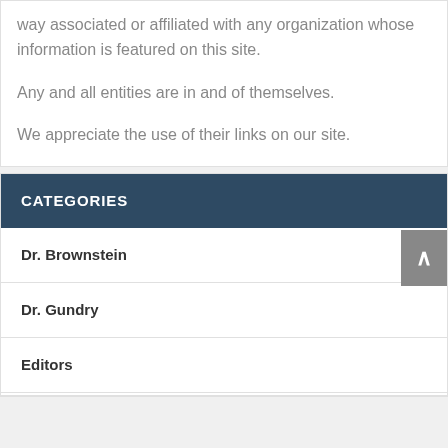way associated or affiliated with any organization whose information is featured on this site.
Any and all entities are in and of themselves.
We appreciate the use of their links on our site.
CATEGORIES
Dr. Brownstein
Dr. Gundry
Editors